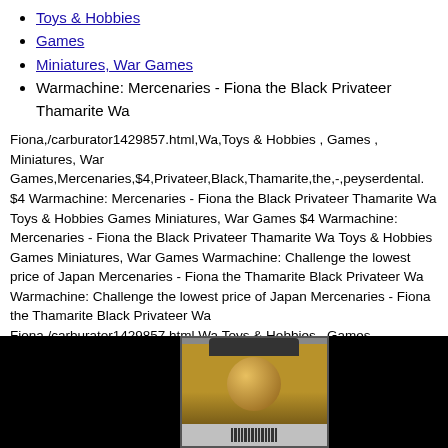Toys & Hobbies
Games
Miniatures, War Games
Warmachine: Mercenaries - Fiona the Black Privateer Thamarite Wa
Fiona,/carburator1429857.html,Wa,Toys & Hobbies , Games , Miniatures, War Games,Mercenaries,$4,Privateer,Black,Thamarite,the,-,peyserdental. $4 Warmachine: Mercenaries - Fiona the Black Privateer Thamarite Wa Toys & Hobbies Games Miniatures, War Games $4 Warmachine: Mercenaries - Fiona the Black Privateer Thamarite Wa Toys & Hobbies Games Miniatures, War Games Warmachine: Challenge the lowest price of Japan Mercenaries - Fiona the Thamarite Black Privateer Wa Warmachine: Challenge the lowest price of Japan Mercenaries - Fiona the Thamarite Black Privateer Wa Fiona,/carburator1429857.html,Wa,Toys & Hobbies , Games , Miniatures, War Games,Mercenaries,$4,Privateer,Black,Thamarite,the,-,peyserdental.
[Figure (photo): Product image on black background showing a Warmachine miniature game package with gold/brown packaging and a circular emblem, displayed against a black background.]